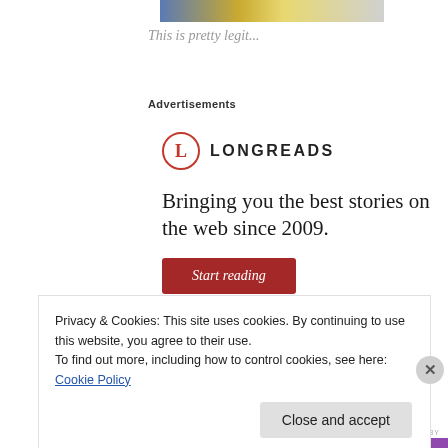[Figure (photo): Partial top image strip showing colorful scene]
This is pretty legit...
Advertisements
[Figure (logo): Longreads logo — red circle with L, followed by LONGREADS text. Ad reads: Bringing you the best stories on the web since 2009. Start reading button.]
Privacy & Cookies: This site uses cookies. By continuing to use this website, you agree to their use.
To find out more, including how to control cookies, see here: Cookie Policy